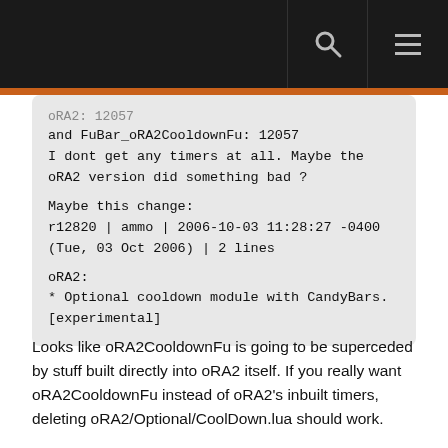[header bar with search and menu icons]
oRA2: 12057
and FuBar_oRA2CooldownFu: 12057
I dont get any timers at all. Maybe the oRA2 version did something bad ?

Maybe this change:
r12820 | ammo | 2006-10-03 11:28:27 -0400 (Tue, 03 Oct 2006) | 2 lines

oRA2:
* Optional cooldown module with CandyBars. [experimental]
Looks like oRA2CooldownFu is going to be superceded by stuff built directly into oRA2 itself. If you really want oRA2CooldownFu instead of oRA2's inbuilt timers, deleting oRA2/Optional/CoolDown.lua should work.